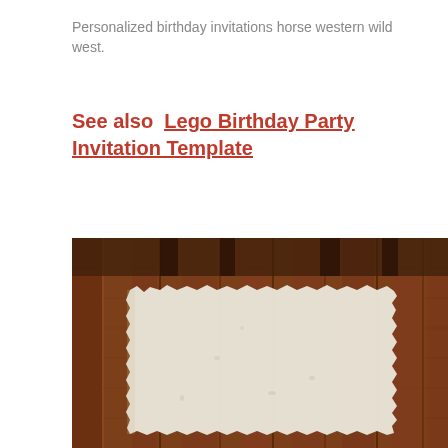Personalized birthday invitations horse western wild west.
See also  Lego Birthday Party Invitation Template
[Figure (photo): A rustic wooden background with dark brown wood planks, overlaid with a piece of aged, torn-edge parchment paper in cream/off-white color placed on top of the wooden surface.]